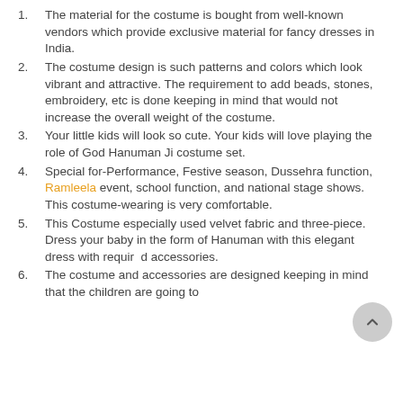The material for the costume is bought from well-known vendors which provide exclusive material for fancy dresses in India.
The costume design is such patterns and colors which look vibrant and attractive. The requirement to add beads, stones, embroidery, etc is done keeping in mind that would not increase the overall weight of the costume.
Your little kids will look so cute. Your kids will love playing the role of God Hanuman Ji costume set.
Special for-Performance, Festive season, Dussehra function, Ramleela event, school function, and national stage shows. This costume-wearing is very comfortable.
This Costume especially used velvet fabric and three-piece. Dress your baby in the form of Hanuman with this elegant dress with required accessories.
The costume and accessories are designed keeping in mind that the children are going to